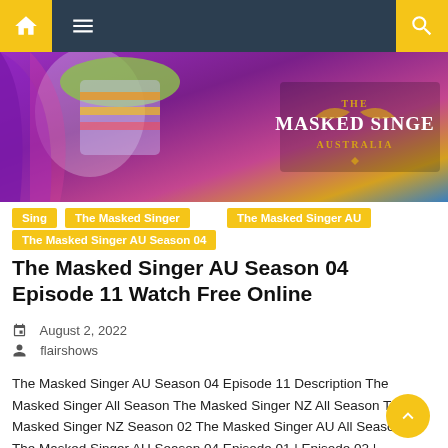[Figure (screenshot): Navigation bar with home icon, hamburger menu, and search icon on dark background]
[Figure (photo): The Masked Singer Australia promotional image with colorful masked characters and gold/purple color scheme, with show logo on right]
Sing
The Masked Singer
The Masked Singer AU
The Masked Singer AU Season 04
The Masked Singer AU Season 04 Episode 11 Watch Free Online
August 2, 2022
flairshows
The Masked Singer AU Season 04 Episode 11 Description The Masked Singer All Season The Masked Singer NZ All Season The Masked Singer NZ Season 02 The Masked Singer AU All Season The Masked Singer AU Season 04 Episode 01 | Episode 02 | Episode 03 | Episode 04 | Episode 05 | Episode 06 [...]